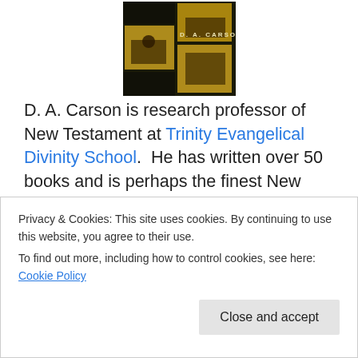[Figure (photo): Book cover image showing D.A. Carson book with dark background and yellow/gold lighting, text 'D. A. CARSON' visible]
D. A. Carson is research professor of New Testament at Trinity Evangelical Divinity School.  He has written over 50 books and is perhaps the finest New Testament scholar around.  If you are not familiar with his work, you should be, especially if you are serious about studying the New Testament.  You can find more information about Carson
Privacy & Cookies: This site uses cookies. By continuing to use this website, you agree to their use.
To find out more, including how to control cookies, see here: Cookie Policy
Close and accept